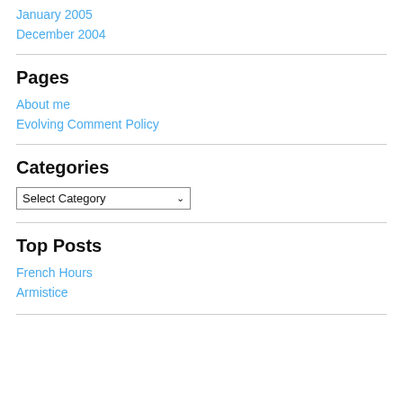January 2005
December 2004
Pages
About me
Evolving Comment Policy
Categories
Select Category
Top Posts
French Hours
Armistice